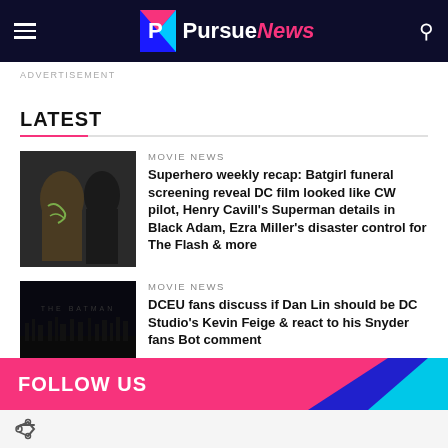PursueNews
ADVERTISEMENT
LATEST
MOVIE NEWS
Superhero weekly recap: Batgirl funeral screening reveal DC film looked like CW pilot, Henry Cavill's Superman details in Black Adam, Ezra Miller's disaster control for The Flash & more
MOVIE NEWS
DCEU fans discuss if Dan Lin should be DC Studio's Kevin Feige & react to his Snyder fans Bot comment
FOLLOW US